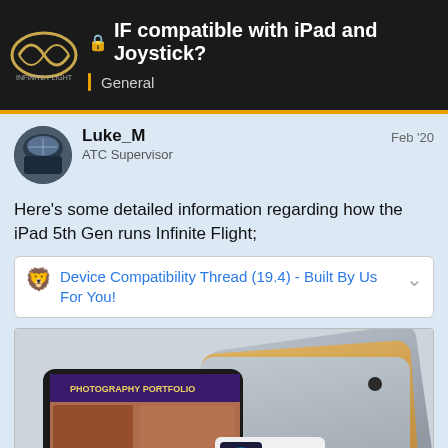IF compatible with iPad and Joystick? — General
Here's some detailed information regarding how the iPad 5th Gen runs Infinite Flight;
Device Compatibility Thread (19.4) - Built By Us For You!
[Figure (photo): Three iPad tablets stacked/fanned showing backs (silver, gold, space gray) and one iPad showing a screen with 'Photography Portfolio' app and music playing 'Have Some Love' by Childish Gambino]
3 / 8